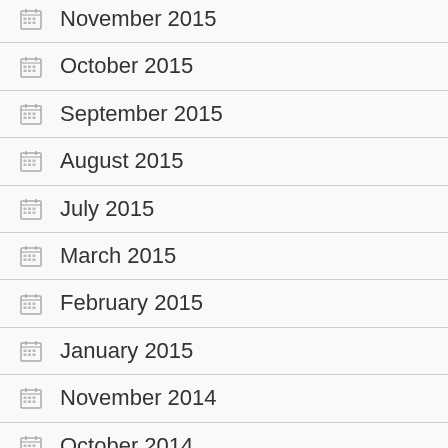November 2015
October 2015
September 2015
August 2015
July 2015
March 2015
February 2015
January 2015
November 2014
October 2014